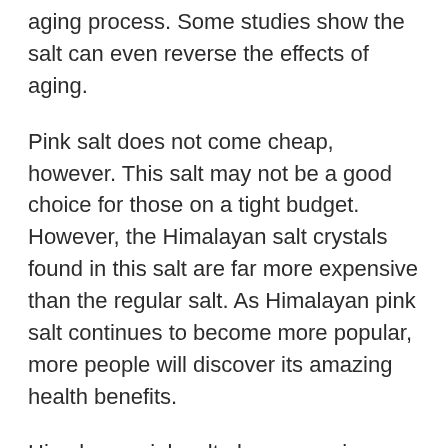aging process. Some studies show the salt can even reverse the effects of aging.
Pink salt does not come cheap, however. This salt may not be a good choice for those on a tight budget. However, the Himalayan salt crystals found in this salt are far more expensive than the regular salt. As Himalayan pink salt continues to become more popular, more people will discover its amazing health benefits.
Himalayan pink salt also comes in different colors. Each salt crystal in the salt has a color that is different from the surrounding crystals. This makes the salt appears to change colors when it is broken down. The color of the Himalayan salt crystal is most often white or light pink, but variations of color can also be seen in some samples.